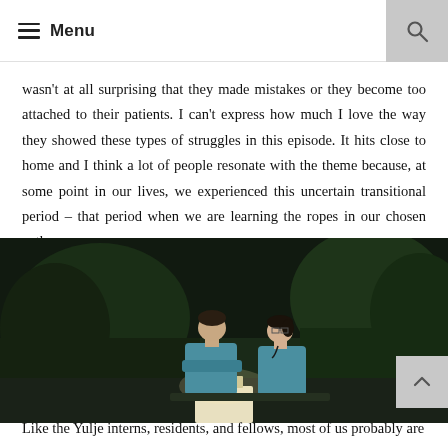Menu
wasn't at all surprising that they made mistakes or they become too attached to their patients. I can't express how much I love the way they showed these types of struggles in this episode. It hits close to home and I think a lot of people resonate with the theme because, at some point in our lives, we experienced this uncertain transitional period – that period when we are learning the ropes in our chosen paths.
[Figure (photo): Two medical residents/interns in teal scrubs sitting outside at night near trees and a light, appearing to have a conversation. Scene from a Korean medical drama (Yulje Hospital).]
Like the Yulje interns, residents, and fellows, most of us probably are too harsh